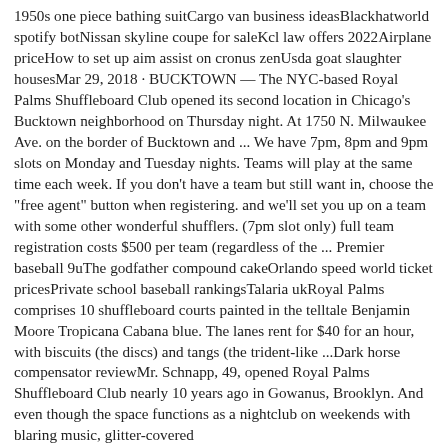1950s one piece bathing suitCargo van business ideasBlackhatworld spotify botNissan skyline coupe for saleKcl law offers 2022Airplane priceHow to set up aim assist on cronus zenUsda goat slaughter housesMar 29, 2018 · BUCKTOWN — The NYC-based Royal Palms Shuffleboard Club opened its second location in Chicago's Bucktown neighborhood on Thursday night. At 1750 N. Milwaukee Ave. on the border of Bucktown and ... We have 7pm, 8pm and 9pm slots on Monday and Tuesday nights. Teams will play at the same time each week. If you don't have a team but still want in, choose the "free agent" button when registering. and we'll set you up on a team with some other wonderful shufflers. (7pm slot only) full team registration costs $500 per team (regardless of the ... Premier baseball 9uThe godfather compound cakeOrlando speed world ticket pricesPrivate school baseball rankingsTalaria ukRoyal Palms comprises 10 shuffleboard courts painted in the telltale Benjamin Moore Tropicana Cabana blue. The lanes rent for $40 for an hour, with biscuits (the discs) and tangs (the trident-like ...Dark horse compensator reviewMr. Schnapp, 49, opened Royal Palms Shuffleboard Club nearly 10 years ago in Gowanus, Brooklyn. And even though the space functions as a nightclub on weekends with blaring music, glitter-covered ...THEROYALPALMSSHUFFLEBOARDCLUB.COM - Check latest WHOIS data, Whois History & Reverse Whois of theroyalpalmsshuffleboardclub.com, all in one page. Try now, it's